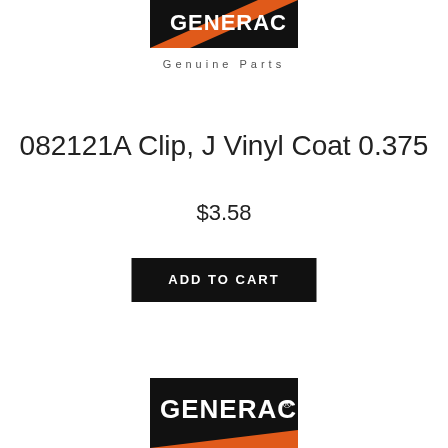[Figure (logo): Generac logo (partial, top) — black background with orange diagonal stripe and white GENERAC text, cropped at top]
Genuine Parts
082121A Clip, J Vinyl Coat 0.375
$3.58
ADD TO CART
[Figure (logo): Generac logo (bottom) — black background with orange diagonal stripe and white GENERAC text with registered trademark symbol]